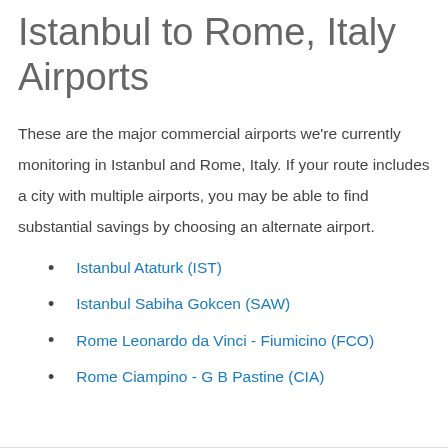Istanbul to Rome, Italy Airports
These are the major commercial airports we're currently monitoring in Istanbul and Rome, Italy. If your route includes a city with multiple airports, you may be able to find substantial savings by choosing an alternate airport.
Istanbul Ataturk (IST)
Istanbul Sabiha Gokcen (SAW)
Rome Leonardo da Vinci - Fiumicino (FCO)
Rome Ciampino - G B Pastine (CIA)